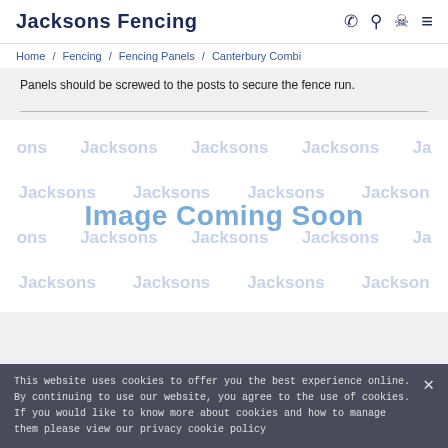Jacksons Fencing
Home / Fencing / Fencing Panels / Canterbury Combi
Panels should be screwed to the posts to secure the fence run.
[Figure (photo): Image Coming Soon placeholder with Jacksons watermark text repeated in a grid pattern on white background]
This website uses cookies to offer you the best experience online. By continuing to use our website, you agree to the use of cookies. If you would like to know more about cookies and how to manage them please view our privacy cookie policy